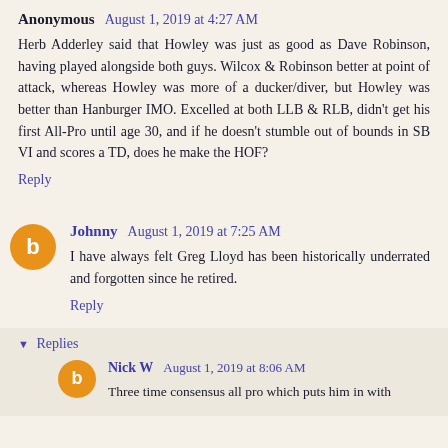Anonymous August 1, 2019 at 4:27 AM
Herb Adderley said that Howley was just as good as Dave Robinson, having played alongside both guys. Wilcox & Robinson better at point of attack, whereas Howley was more of a ducker/diver, but Howley was better than Hanburger IMO. Excelled at both LLB & RLB, didn't get his first All-Pro until age 30, and if he doesn't stumble out of bounds in SB VI and scores a TD, does he make the HOF?
Reply
Johnny August 1, 2019 at 7:25 AM
I have always felt Greg Lloyd has been historically underrated and forgotten since he retired.
Reply
Replies
Nick W August 1, 2019 at 8:06 AM
Three time consensus all pro which puts him in with